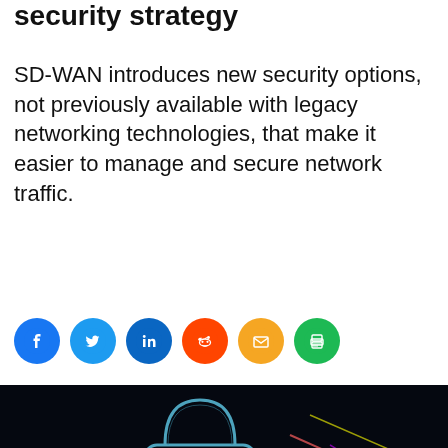security strategy
SD-WAN introduces new security options, not previously available with legacy networking technologies, that make it easier to manage and secure network traffic.
[Figure (infographic): Social media sharing icons row: Facebook (blue), Twitter (blue), LinkedIn (blue), Reddit (orange-red), Email (yellow/orange), Print (green)]
[Figure (photo): Dark background photo showing a glowing digital padlock icon with neon/colorful light streaks on the right side, suggesting cybersecurity theme.]